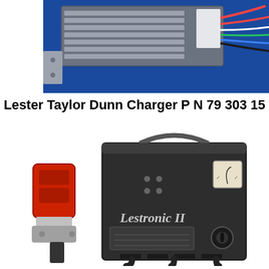[Figure (photo): Photo of a Lester Taylor Dunn battery charger circuit board/module with multiple colored wires (red, white, green, blue, black) extending from it, mounted on a blue surface.]
Lester Taylor Dunn Charger P N 79 303 15
[Figure (photo): Photo of a Lestronic II battery charger (dark grey/black box with handle on top, gauge on front face, and ventilation slots at the bottom) alongside a red SB-type connector plug with a metal connector base.]